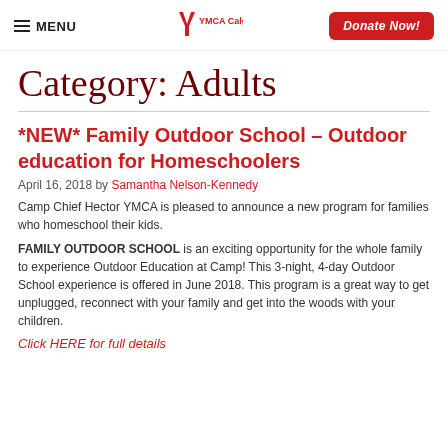MENU | YMCA Calgary | Donate Now!
Category: Adults
*NEW* Family Outdoor School – Outdoor education for Homeschoolers
April 16, 2018 by Samantha Nelson-Kennedy
Camp Chief Hector YMCA is pleased to announce a new program for families who homeschool their kids.
FAMILY OUTDOOR SCHOOL is an exciting opportunity for the whole family to experience Outdoor Education at Camp! This 3-night, 4-day Outdoor School experience is offered in June 2018. This program is a great way to get unplugged, reconnect with your family and get into the woods with your children.
Click HERE for full details